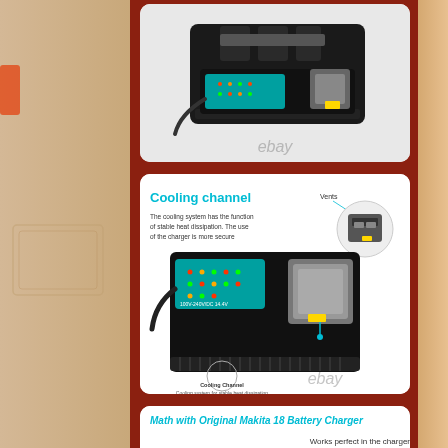[Figure (photo): Battery charger product photo - top view of black Makita-style battery charger showing dual charging slots]
[Figure (infographic): Diagram of battery charger showing cooling channel and vents with labels: 'Cooling channel' in cyan, 'Vents' label pointing to top vent, description text about cooling system stable heat dissipation, 'Cooling Channel' label at bottom pointing to fins, 'Cooling system for stable heat dissipation', ebay watermark]
Cooling channel
The cooling system has the function of stable heat dissipation. The use of the charger is more secure
Vents
Cooling Channel
Cooling system for stable heat dissipation
[Figure (photo): Bottom portion of battery charger showing 'Math with Original Makita 18 Battery Charger' text and product image]
Math with Original Makita 18 Battery Charger
Works perfect in the charger hold a chargerlonger and charge up faster